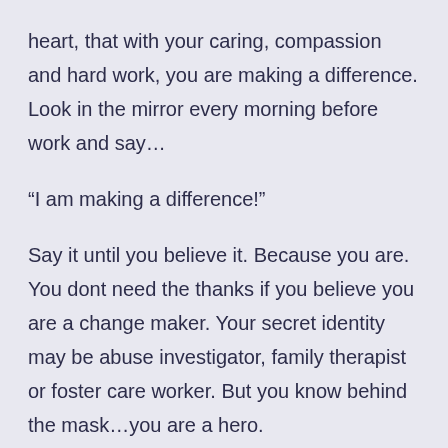heart, that with your caring, compassion and hard work, you are making a difference. Look in the mirror every morning before work and say…
“I am making a difference!”
Say it until you believe it. Because you are. You dont need the thanks if you believe you are a change maker. Your secret identity may be abuse investigator, family therapist or foster care worker. But you know behind the mask…you are a hero.
Happy Social Work Month!